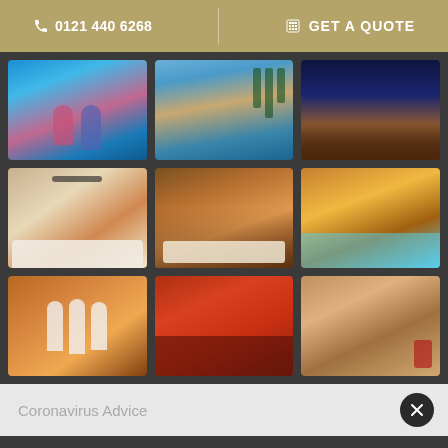0121 440 6268  |  GET A QUOTE
[Figure (photo): Grid of 9 resort and spa photos showing pool areas, spa treatment rooms, outdoor areas with tented structures, and lounge areas with warm lighting]
Coronavirus Advice